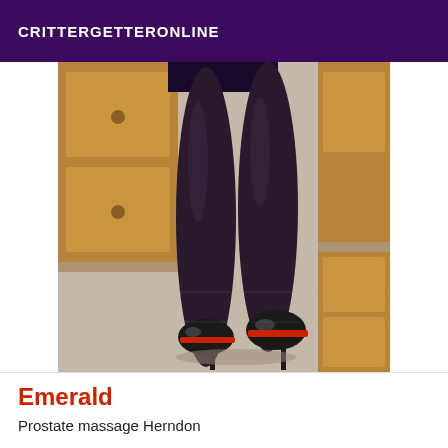CRITTERGETTERONLINE
[Figure (photo): A person's legs wearing black sheer tights and high-heeled stiletto shoes with red soles, viewed from behind, standing on a beige carpet near a wooden chest of drawers.]
Emerald
Prostate massage Herndon